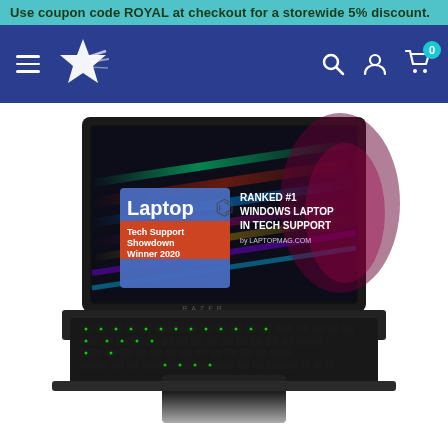Use coupon code ROYAL at checkout for a storewide 5% discount.
[Figure (screenshot): E-commerce website navigation bar with hamburger menu, star logo, search icon, account icon, and cart icon with badge showing 0]
[Figure (photo): Razer gaming laptop (Blade Stealth) with RGB keyboard and display showing 'Laptop Tech Support Showdown Winner 2020' badge and text 'Ranked #1 Windows Laptop in Tech Support by laptopmag.com']